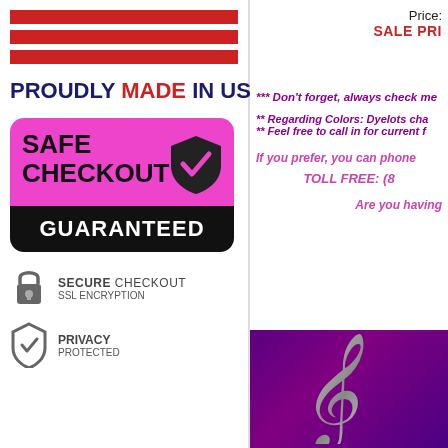[Figure (illustration): Three red horizontal stripes]
PROUDLY MADE IN USA
[Figure (illustration): Safe Checkout Guaranteed badge with pink/magenta top section showing shield with checkmark and SAFE CHECKOUT text, black bottom section with GUARANTEED text]
[Figure (illustration): Secure Checkout SSL Encryption icon with padlock]
SECURE CHECKOUT SSL ENCRYPTION
[Figure (illustration): Privacy Protected icon with shield and checkmark]
PRIVACY PROTECTED
Price:
SALE PRI
*** Don't forget, always check me
** Regarding Colors: Dyelots cha
** Feel free to call in for current f
If you prefer, you can phone
TOLL FREE: (8
Are you having
[Figure (logo): Musical note logo on purple background]